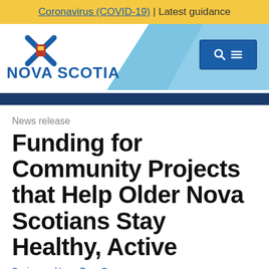Coronavirus (COVID-19) | Latest guidance
[Figure (logo): Nova Scotia government logo with blue saltire and lion, text NOVA SCOTIA, with search/menu button and blue diagonal header background]
News release
Funding for Community Projects that Help Older Nova Scotians Stay Healthy, Active
Seniors and Long Term Care